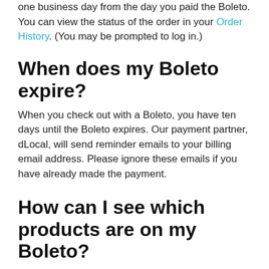one business day from the day you paid the Boleto. You can view the status of the order in your Order History. (You may be prompted to log in.)
When does my Boleto expire?
When you check out with a Boleto, you have ten days until the Boleto expires. Our payment partner, dLocal, will send reminder emails to your billing email address. Please ignore these emails if you have already made the payment.
How can I see which products are on my Boleto?
You can see what product(s) are associated with the Boleto in your Order History.
1. Go to your GoDaddy My Profile page. You might